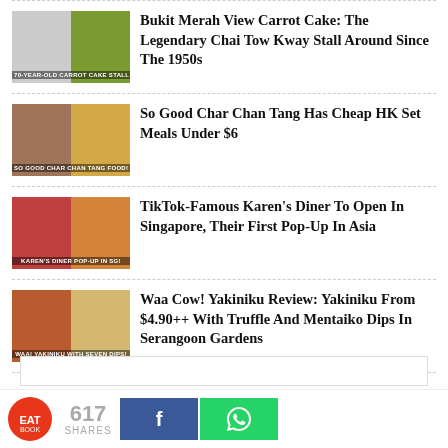Bukit Merah View Carrot Cake: The Legendary Chai Tow Kway Stall Around Since The 1950s
So Good Char Chan Tang Has Cheap HK Set Meals Under $6
TikTok-Famous Karen's Diner To Open In Singapore, Their First Pop-Up In Asia
Waa Cow! Yakiniku Review: Yakiniku From $4.90++ With Truffle And Mentaiko Dips In Serangoon Gardens
617 SHARES